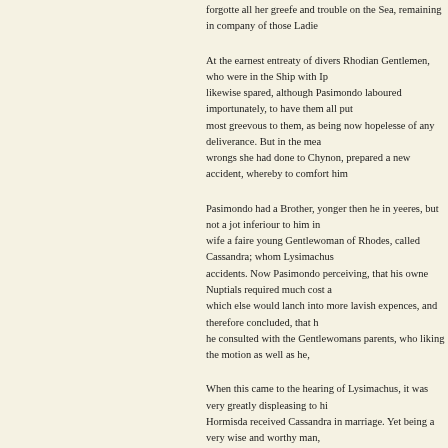forgotte all her greefe and trouble on the Sea, remaining in company of those Ladie
At the earnest entreaty of divers Rhodian Gentlemen, who were in the Ship with Ip likewise spared, although Pasimondo laboured importunately, to have them all put most greevous to them, as being now hopelesse of any deliverance. But in the mea wrongs she had done to Chynon, prepared a new accident, whereby to comfort him
Pasimondo had a Brother, yonger then he in yeeres, but not a jot inferiour to him in wife a faire young Gentlewoman of Rhodes, called Cassandra; whom Lysimachus accidents. Now Pasimondo perceiving, that his owne Nuptials required much cost a which else would lanch into more lavish expences, and therefore concluded, that h he consulted with the Gentlewomans parents, who liking the motion as well as he,
When this came to the hearing of Lysimachus, it was very greatly displeasing to hi Hormisda received Cassandra in marriage. Yet being a very wise and worthy man, marriage once more, which he found impossible to be done, except it were by way Authority: onely it would seeme dishonest in him, by giving such an unfitting exam to steale her away, whatsoever became of it.
Nothing wanted now, but a convenient company to assist him, and the order how to and perswaded himselfe, that he could not have a more faithfull friend in such a bu being alone by themselves, thus he began. Chynon (quoth he) as the Gods are very their vertues, and such as they finde firme and constant, in all occurrences which m they being willing to have more certain experience of thy vertues, then those which know to be superabounding: perhaps do intend to present thee other occasions, of m